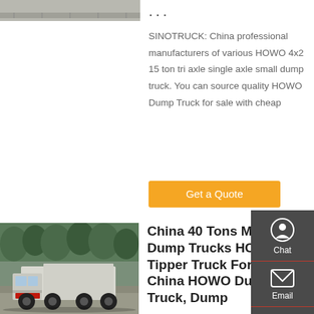[Figure (photo): Top cropped photo of a truck on a road]
...
SINOTRUCK: China professional manufacturers of various HOWO 4x2 15 ton tri axle single axle small dump truck. You can source quality HOWO Dump Truck for sale with cheap
Get a Quote
[Figure (photo): Photo of a HOWO dump truck rear view in a parking area with trees in background]
China 40 Tons Mining Dump Trucks HOWO Tipper Truck For Sale - China HOWO Dump Truck, Dump